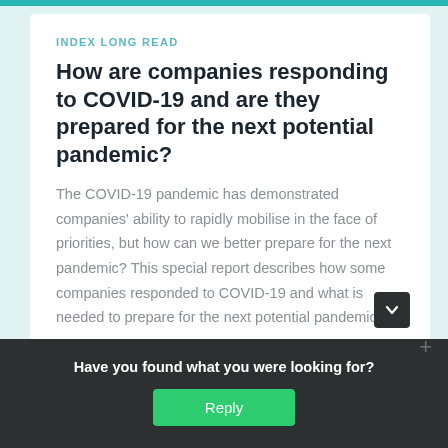INDEX LONG READ
How are companies responding to COVID-19 and are they prepared for the next potential pandemic?
The COVID-19 pandemic has demonstrated companies' ability to rapidly mobilise in the face of priorities, but how can we better prepare for the next pandemic? This special report describes how some companies responded to COVID-19 and what is needed to prepare for the next potential pandemic.
Have you found what you were looking for?
Reply